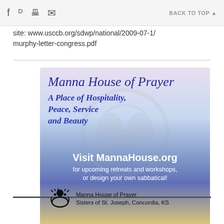f  [twitter] [print] [email]   BACK TO TOP
site: www.usccb.org/sdwp/national/2009-07-1/murphy-letter-congress.pdf
[Figure (illustration): Manna House of Prayer advertisement. Text: 'Manna House of Prayer - A Place of Hospitality, Peace, Service and Beauty. Visit MannaHouse.org for upcoming retreats and workshops, or design your own sabbatical! Manna House of Prayer, Sisters of St. Joseph, Concordia, KS']